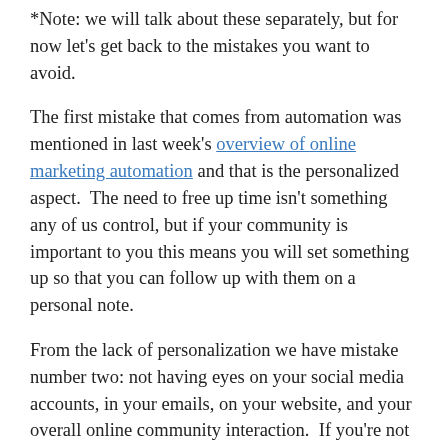*Note: we will talk about these separately, but for now let's get back to the mistakes you want to avoid.
The first mistake that comes from automation was mentioned in last week's overview of online marketing automation and that is the personalized aspect.  The need to free up time isn't something any of us control, but if your community is important to you this means you will set something up so that you can follow up with them on a personal note.
From the lack of personalization we have mistake number two: not having eyes on your social media accounts, in your emails, on your website, and your overall online community interaction.  If you're not paying attention to what is going on online, how will you know who you're talking to and what they've been talking about, and what their concerns are?